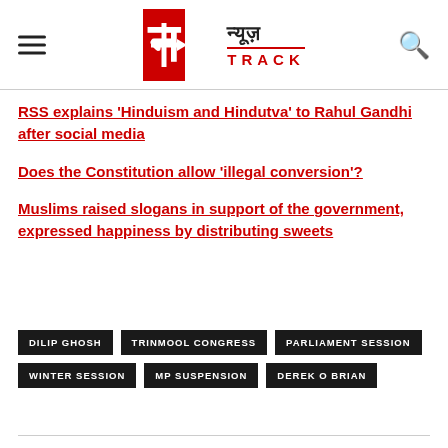News Track
RSS explains 'Hinduism and Hindutva' to Rahul Gandhi after social media
Does the Constitution allow 'illegal conversion'?
Muslims raised slogans in support of the government, expressed happiness by distributing sweets
DILIP GHOSH
TRINMOOL CONGRESS
PARLIAMENT SESSION
WINTER SESSION
MP SUSPENSION
DEREK O BRIAN